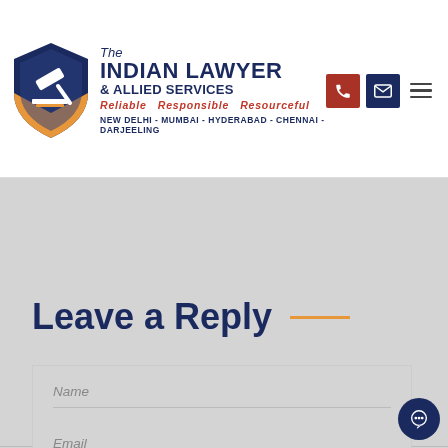[Figure (logo): The Indian Lawyer & Allied Services logo with shield emblem, text, tagline 'Reliable Responsible Resourceful', and city list 'NEW DELHI - MUMBAI - HYDERABAD - CHENNAI - DARJEELING']
Leave a Reply
Name
Email